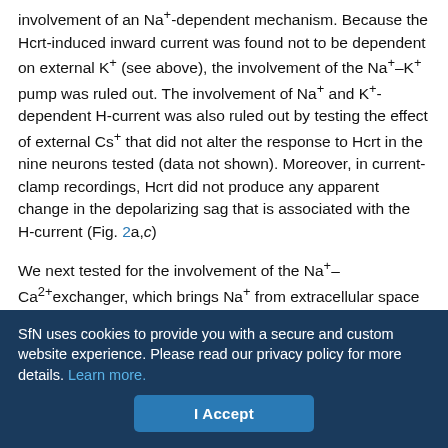involvement of an Na+-dependent mechanism. Because the Hcrt-induced inward current was found not to be dependent on external K+ (see above), the involvement of the Na+–K+ pump was ruled out. The involvement of Na+ and K+-dependent H-current was also ruled out by testing the effect of external Cs+ that did not alter the response to Hcrt in the nine neurons tested (data not shown). Moreover, in current-clamp recordings, Hcrt did not produce any apparent change in the depolarizing sag that is associated with the H-current (Fig. 2a,c)
We next tested for the involvement of the Na+–Ca2+exchanger, which brings Na+ from extracellular space and extrudes intracellular Ca2+ with a 3:1 Na+/Ca2+stoichiometry, resulting in a net influx of one positive charge for each exchange. First, we tried to test the effects...
SfN uses cookies to provide you with a secure and custom website experience. Please read our privacy policy for more details. Learn more.